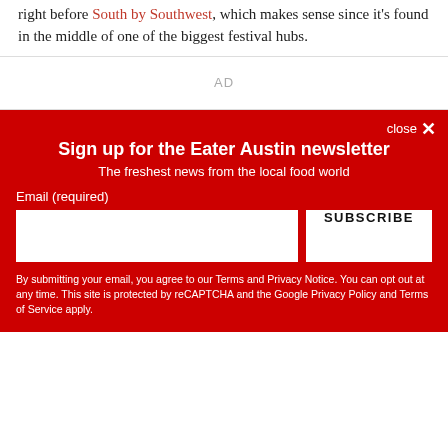right before South by Southwest, which makes sense since it's found in the middle of one of the biggest festival hubs.
AD
close ×
Sign up for the Eater Austin newsletter
The freshest news from the local food world
Email (required)
SUBSCRIBE
By submitting your email, you agree to our Terms and Privacy Notice. You can opt out at any time. This site is protected by reCAPTCHA and the Google Privacy Policy and Terms of Service apply.